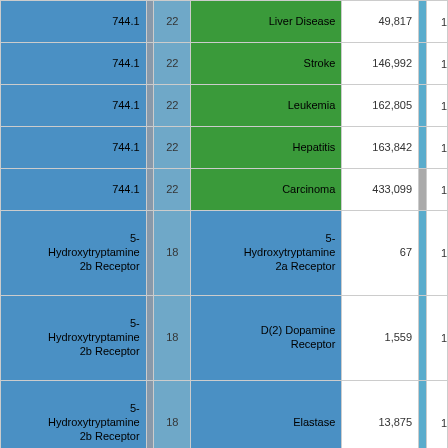| Source | Count1 | Target | Count2 |  |  |
| --- | --- | --- | --- | --- | --- |
| 744.1 | 22 | Liver Disease | 49,817 |  | 1 |
| 744.1 | 22 | Stroke | 146,992 |  | 1 |
| 744.1 | 22 | Leukemia | 162,805 |  | 1 |
| 744.1 | 22 | Hepatitis | 163,842 |  | 1 |
| 744.1 | 22 | Carcinoma | 433,099 |  | 1 |
| 5-Hydroxytryptamine 2b Receptor | 18 | 5-Hydroxytryptamine 2a Receptor | 67 |  | 1 |
| 5-Hydroxytryptamine 2b Receptor | 18 | D(2) Dopamine Receptor | 1,559 |  | 1 |
| 5-Hydroxytryptamine 2b Receptor | 18 | Elastase | 13,875 |  | 1 |
| 5-Hydroxytryptamine 2b Receptor | 18 | ERK1 | 18,374 |  | 1 |